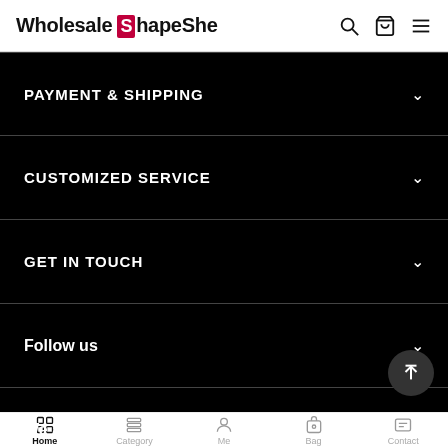Wholesale ShapeShe
PAYMENT & SHIPPING
CUSTOMIZED SERVICE
GET IN TOUCH
Follow us
We accept
Home | Category | Me | Bag | Contact